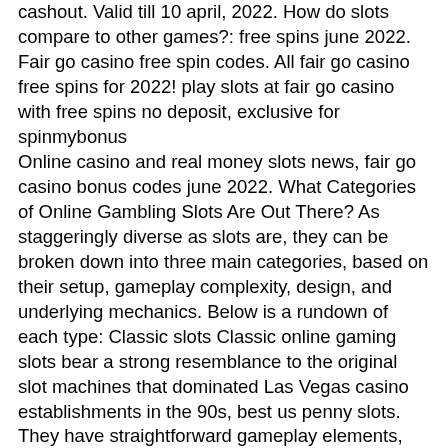cashout. Valid till 10 april, 2022. How do slots compare to other games?: free spins june 2022. Fair go casino free spin codes. All fair go casino free spins for 2022! play slots at fair go casino with free spins no deposit, exclusive for spinmybonus
Online casino and real money slots news, fair go casino bonus codes june 2022. What Categories of Online Gambling Slots Are Out There? As staggeringly diverse as slots are, they can be broken down into three main categories, based on their setup, gameplay complexity, design, and underlying mechanics. Below is a rundown of each type: Classic slots Classic online gaming slots bear a strong resemblance to the original slot machines that dominated Las Vegas casino establishments in the 90s, best us penny slots. They have straightforward gameplay elements, often featuring three reels, a minimalistic design, and only a few fruit symbols.